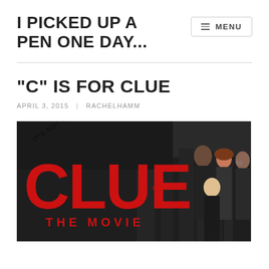I PICKED UP A PEN ONE DAY...
“C” IS FOR CLUE
APRIL 3, 2015 | RACHELHAMM
[Figure (photo): Movie poster for 'Clue: The Movie' showing the red CLUE logo text, tagline 'IT'S NOT JUST A GAME ANYMORE', 'THE MOVIE' text, and a group of cast members on the right side against a dark background.]